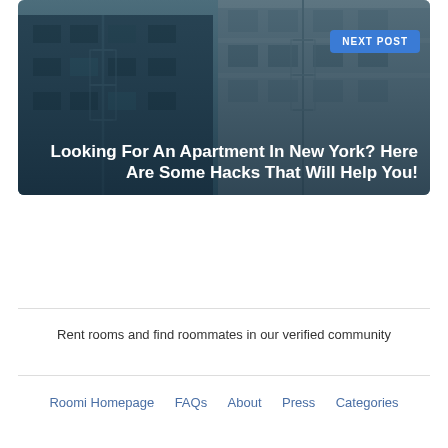[Figure (photo): Photo of New York apartment buildings with fire escapes and ornate facades, overlaid with dark teal tint. Contains a blue 'NEXT POST' badge in the top right and white bold title text.]
Looking For An Apartment In New York? Here Are Some Hacks That Will Help You!
Rent rooms and find roommates in our verified community
Roomi Homepage   FAQs   About   Press   Categories